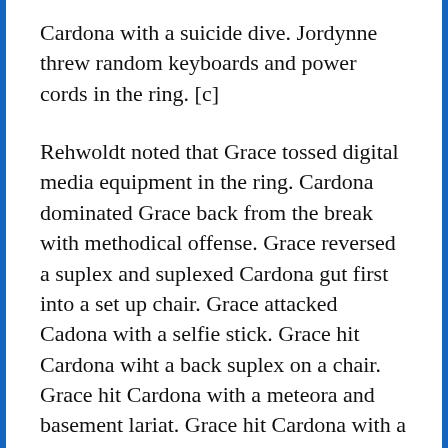Cardona with a suicide dive. Jordynne threw random keyboards and power cords in the ring. [c]
Rehwoldt noted that Grace tossed digital media equipment in the ring. Cardona dominated Grace back from the break with methodical offense. Grace reversed a suplex and suplexed Cardona gut first into a set up chair. Grace attacked Cadona with a selfie stick. Grace hit Cardona wiht a back suplex on a chair. Grace hit Cardona with a meteora and basement lariat. Grace hit Cardona with a Vader Bomb for a two count. Grace teased pouring out a bag of thumbtacks, but then poured out a bag of random cell phones.
Cardona recovered and tossed Grace into the